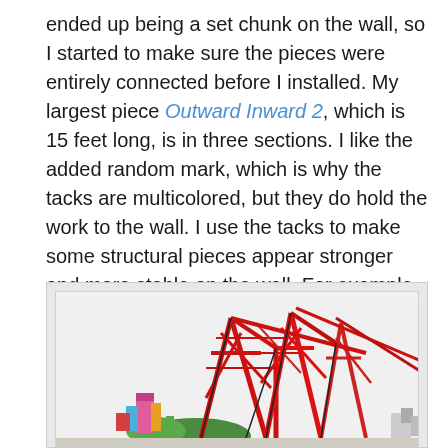ended up being a set chunk on the wall, so I started to make sure the pieces were entirely connected before I installed. My largest piece Outward Inward 2, which is 15 feet long, is in three sections. I like the added random mark, which is why the tacks are multicolored, but they do hold the work to the wall. I use the tacks to make some structural pieces appear stronger and more stable on the wall. For example, if there is a big, heavy crane next to a tree, I don't want the crane to be slipping around on the wall at all. But it's okay if the tree moves a little.
[Figure (photo): A framed artwork showing colorful industrial cranes and port structures in red and other colors, viewed from inside a white frame border. The artwork depicts what appears to be a shipping port scene with large red cranes dominating the composition.]